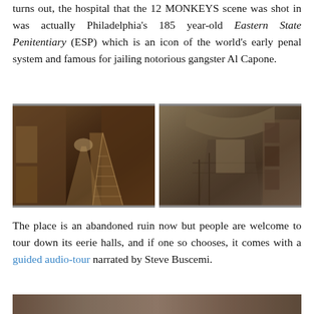turns out, the hospital that the 12 MONKEYS scene was shot in was actually Philadelphia's 185 year-old Eastern State Penitentiary (ESP) which is an icon of the world's early penal system and famous for jailing notorious gangster Al Capone.
[Figure (photo): Two side-by-side photographs of the interior of Eastern State Penitentiary showing dilapidated corridors with peeling walls, stairs, and cell doors.]
The place is an abandoned ruin now but people are welcome to tour down its eerie halls, and if one so chooses, it comes with a guided audio-tour narrated by Steve Buscemi.
[Figure (photo): Partial view of another photograph of Eastern State Penitentiary interior, cropped at the bottom of the page.]